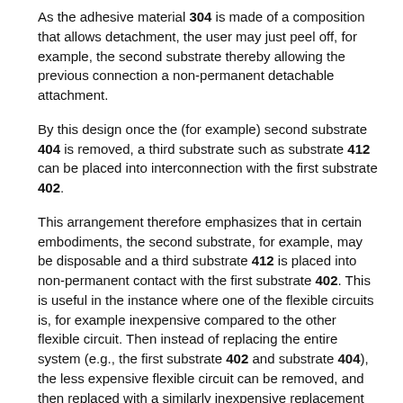As the adhesive material 304 is made of a composition that allows detachment, the user may just peel off, for example, the second substrate thereby allowing the previous connection a non-permanent detachable attachment.
By this design once the (for example) second substrate 404 is removed, a third substrate such as substrate 412 can be placed into interconnection with the first substrate 402.
This arrangement therefore emphasizes that in certain embodiments, the second substrate, for example, may be disposable and a third substrate 412 is placed into non-permanent contact with the first substrate 402. This is useful in the instance where one of the flexible circuits is, for example inexpensive compared to the other flexible circuit. Then instead of replacing the entire system (e.g., the first substrate 402 and substrate 404), the less expensive flexible circuit can be removed, and then replaced with a similarly inexpensive replacement thereby maintaining the more expensive circuitry for further use. Alternatively, the removed substrate can be repaired,